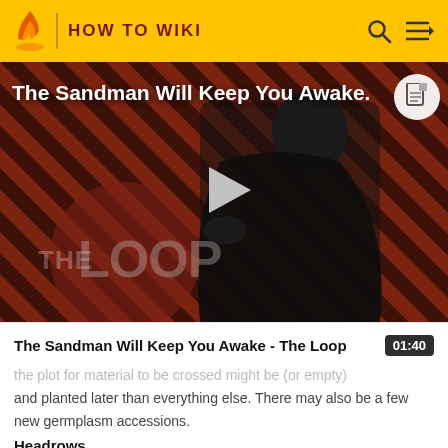HOW TO WIKI
[Figure (screenshot): Video thumbnail showing The Sandman character in black costume against a red diagonal striped background, with THE LOOP watermark, a play button in the center, and the title 'The Sandman Will Keep You Awake.' overlaid in white text]
The Sandman Will Keep You Awake - The Loop
01:40
the plot for material to be crossed might be (or empty) and planted later than everything else. There may also be a few new germplasm accessions.
Headrows